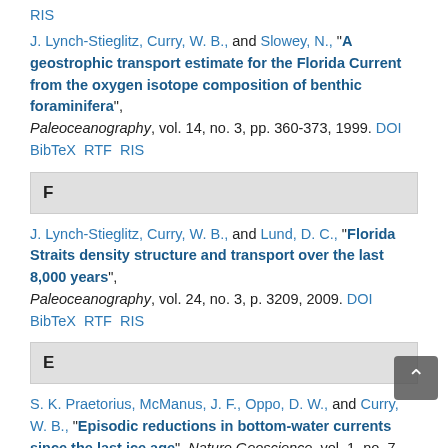RIS
J. Lynch-Stieglitz, Curry, W. B., and Slowey, N., "A geostrophic transport estimate for the Florida Current from the oxygen isotope composition of benthic foraminifera", Paleoceanography, vol. 14, no. 3, pp. 360-373, 1999. DOI BibTeX RTF RIS
F
J. Lynch-Stieglitz, Curry, W. B., and Lund, D. C., "Florida Straits density structure and transport over the last 8,000 years", Paleoceanography, vol. 24, no. 3, p. 3209, 2009. DOI BibTeX RTF RIS
E
S. K. Praetorius, McManus, J. F., Oppo, D. W., and Curry, W. B., "Episodic reductions in bottom-water currents since the last ice age", Nature Geoscience, vol. 1, no. 7, pp. 449-452, 2008. DOI BibTeX RTF RIS